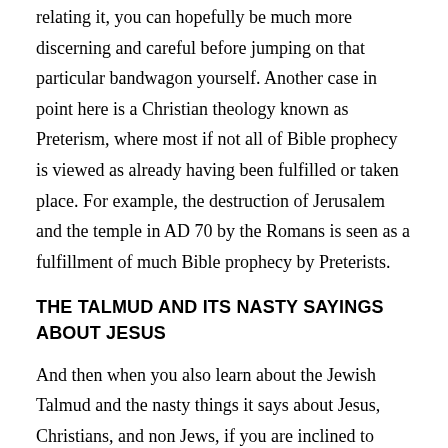relating it, you can hopefully be much more discerning and careful before jumping on that particular bandwagon yourself. Another case in point here is a Christian theology known as Preterism, where most if not all of Bible prophecy is viewed as already having been fulfilled or taken place. For example, the destruction of Jerusalem and the temple in AD 70 by the Romans is seen as a fulfillment of much Bible prophecy by Preterists.
THE TALMUD AND ITS NASTY SAYINGS ABOUT JESUS
And then when you also learn about the Jewish Talmud and the nasty things it says about Jesus, Christians, and non Jews, if you are inclined to being a Bible believer, as I was, you kind of think this adds to the credibility of